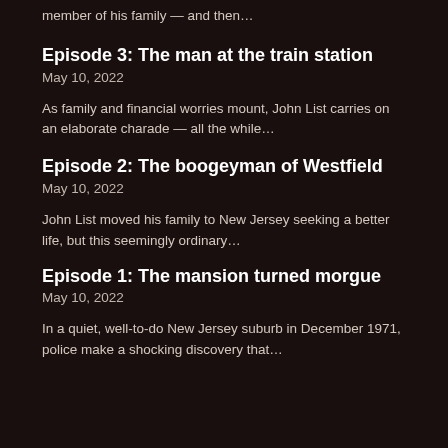member of his family — and then…
Episode 3: The man at the train station
May 10, 2022
As family and financial worries mount, John List carries on an elaborate charade — all the while…
Episode 2: The boogeyman of Westfield
May 10, 2022
John List moved his family to New Jersey seeking a better life, but this seemingly ordinary…
Episode 1: The mansion turned morgue
May 10, 2022
In a quiet, well-to-do New Jersey suburb in December 1971, police make a shocking discovery that…